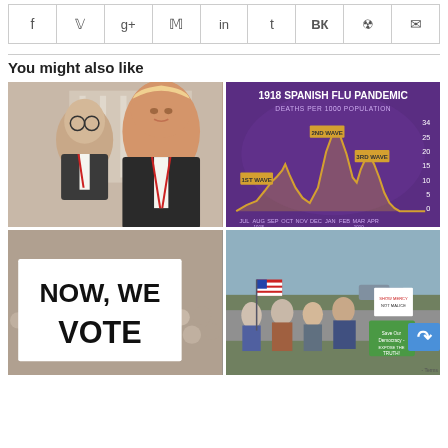[Figure (other): Social media sharing icons bar: Facebook, Twitter, Google+, Pinterest, LinkedIn, Tumblr, VK, Reddit, Email]
You might also like
[Figure (photo): Photo of two men in suits, one elderly with glasses, one appearing to be Donald Trump, in front of a building]
[Figure (line-chart): Line chart showing Deaths per 1000 population during 1918 Spanish Flu Pandemic with 3 waves labeled: 1ST WAVE, 2ND WAVE, 3RD WAVE across months JUL 1918 through APR 1919]
[Figure (photo): Photo of protest sign reading NOW, WE VOTE with crowd in background]
[Figure (photo): Photo of outdoor protest with people holding signs including American flags and signs reading SHOW MERCY NOT MALICE and Save Our Democracy - Expose the TRUTH!]